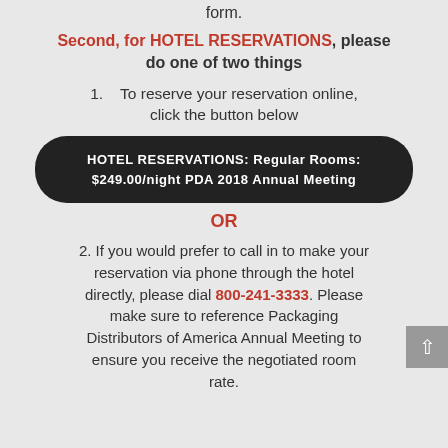form.
Second, for HOTEL RESERVATIONS, please do one of two things
1.   To reserve your reservation online, click the button below
HOTEL RESERVATIONS: Regular Rooms: $249.00/night PDA 2018 Annual Meeting
OR
2. If you would prefer to call in to make your reservation via phone through the hotel directly, please dial 800-241-3333. Please make sure to reference Packaging Distributors of America Annual Meeting to ensure you receive the negotiated room rate.